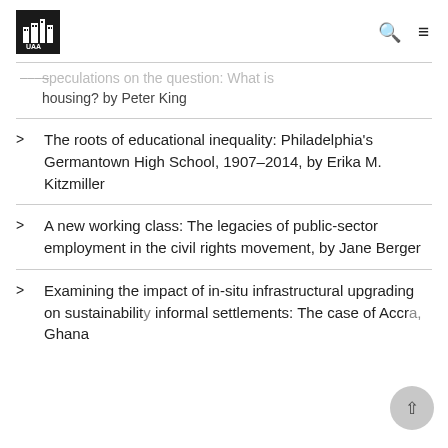UAA logo, search icon, menu icon
…speculations on the question: What is housing? by Peter King
The roots of educational inequality: Philadelphia's Germantown High School, 1907–2014, by Erika M. Kitzmiller
A new working class: The legacies of public-sector employment in the civil rights movement, by Jane Berger
Examining the impact of in-situ infrastructural upgrading on sustainability informal settlements: The case of Accra, Ghana